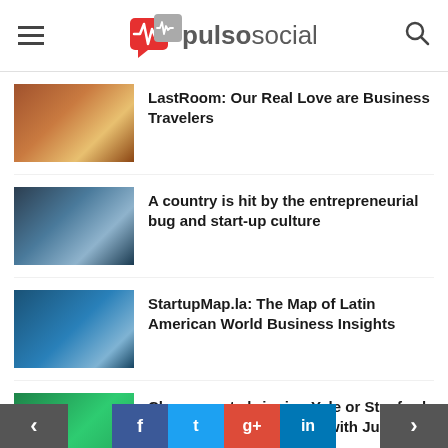pulsosocial
LastRoom: Our Real Love are Business Travelers
A country is hit by the entrepreneurial bug and start-up culture
StartupMap.la: The Map of Latin American World Business Insights
Classroom.tv bringing Yale or Stanford Education to the Masses with Just One Click
Poup and PayPal P...